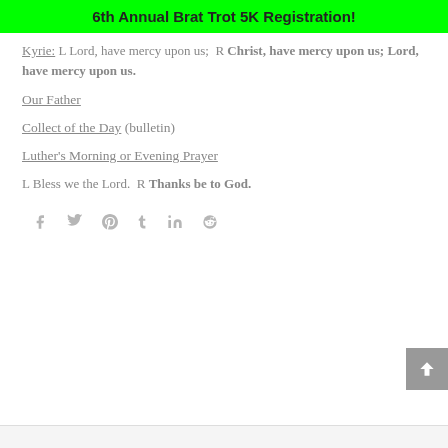6th Annual Brat Trot 5K Registration!
Kyrie: L Lord, have mercy upon us;  R Christ, have mercy upon us; Lord, have mercy upon us.
Our Father
Collect of the Day (bulletin)
Luther's Morning or Evening Prayer
L Bless we the Lord.  R Thanks be to God.
[Figure (other): Social media share icons: Facebook, Twitter, Pinterest, Tumblr, LinkedIn, Reddit]